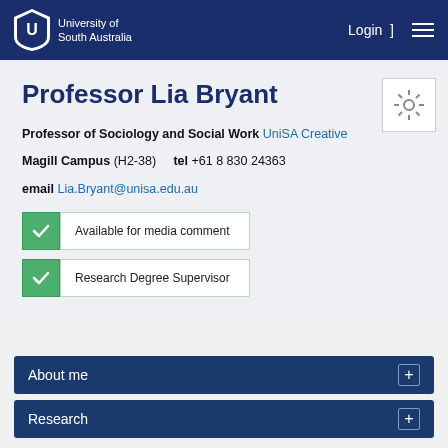University of South Australia  Login  ☰
Professor Lia Bryant
Professor of Sociology and Social Work UniSA Creative
Magill Campus (H2-38)  tel +61 8 830 24363
email Lia.Bryant@unisa.edu.au
✓ Available for media comment
✓ Research Degree Supervisor
About me
Research